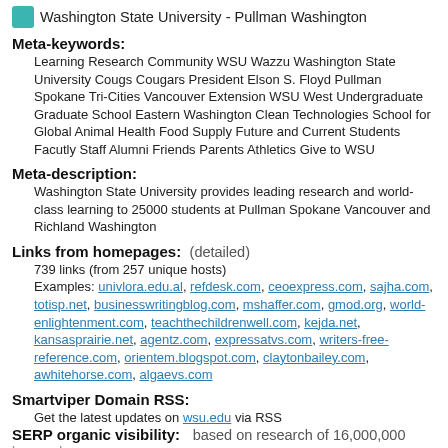Washington State University - Pullman Washington
Meta-keywords:
Learning Research Community WSU Wazzu Washington State University Cougs Cougars President Elson S. Floyd Pullman Spokane Tri-Cities Vancouver Extension WSU West Undergraduate Graduate School Eastern Washington Clean Technologies School for Global Animal Health Food Supply Future and Current Students Facutly Staff Alumni Friends Parents Athletics Give to WSU
Meta-description:
Washington State University provides leading research and world-class learning to 25000 students at Pullman Spokane Vancouver and Richland Washington
Links from homepages:
739 links (from 257 unique hosts)
Examples: univlora.edu.al, refdesk.com, ceoexpress.com, sajha.com, totisp.net, businesswritingblog.com, mshaffer.com, gmod.org, world-enlightenment.com, teachthechildrenwell.com, kejda.net, kansasprairie.net, agentz.com, expressatvs.com, writers-free-reference.com, orientem.blogspot.com, claytonbailey.com, awhitehorse.com, algaevs.com
Smartviper Domain RSS:
Get the latest updates on wsu.edu via RSS
SERP organic visibility:
based on research of 16,000,000 keywords
Domain name is seen on 4,525 search engine queries. Average position in SERP is 18. Best position in SERP for this domain is #1 (it's found 199 times). Statistical information was collected from